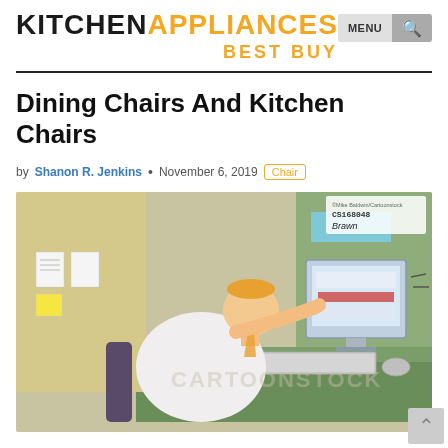KITCHENAPPLIANCES BEST BUY — MENU [search]
Dining Chairs And Kitchen Chairs
by Shanon R. Jenkins • November 6, 2019 [Chair]
[Figure (illustration): Cartoon of a person hunched over a computer keyboard, typing intensely, with a monitor on a green office desk. CartoonStock watermark visible. CS168048 reference code and artist signature in top right corner.]